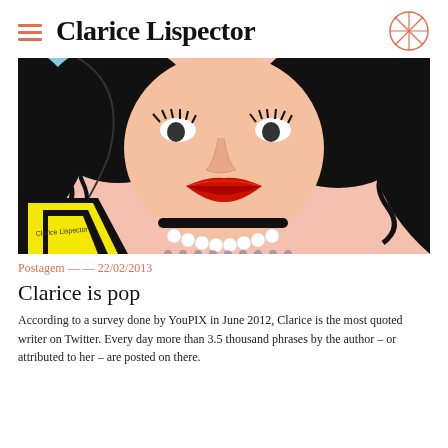Clarice Lispector
[Figure (illustration): Pop art style illustration of a woman with red lips, pearl necklace, black choker, polka-dot blouse, curly black hair, on a red and blue background with yellow geometric shapes and 'Clarice Lispector' text in bottom left corner]
Postagem — — 22/02/2013
Clarice is pop
According to a survey done by YouPIX in June 2012, Clarice is the most quoted writer on Twitter. Every day more than 3.5 thousand phrases by the author – or attributed to her – are posted on there.